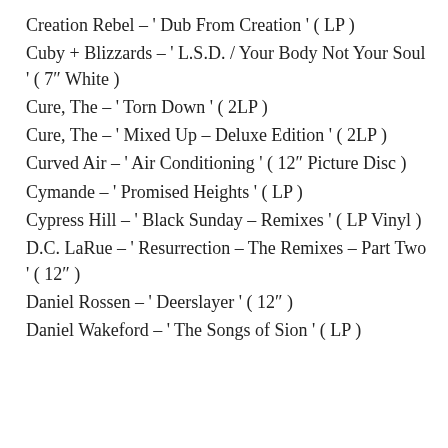Creation Rebel – ' Dub From Creation ' ( LP )
Cuby + Blizzards – ' L.S.D. / Your Body Not Your Soul ' ( 7″ White )
Cure, The – ' Torn Down ' ( 2LP )
Cure, The – ' Mixed Up – Deluxe Edition ' ( 2LP )
Curved Air – ' Air Conditioning ' ( 12″ Picture Disc )
Cymande – ' Promised Heights ' ( LP )
Cypress Hill – ' Black Sunday – Remixes ' ( LP Vinyl )
D.C. LaRue – ' Resurrection – The Remixes – Part Two ' ( 12″ )
Daniel Rossen – ' Deerslayer ' ( 12″ )
Daniel Wakeford – ' The Songs of Sion ' ( LP )